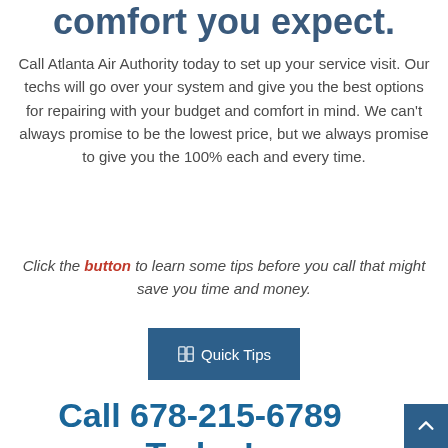comfort you expect.
Call Atlanta Air Authority today to set up your service visit. Our techs will go over your system and give you the best options for repairing with your budget and comfort in mind. We can't always promise to be the lowest price, but we always promise to give you the 100% each and every time.
Click the button to learn some tips before you call that might save you time and money.
[Figure (other): A blue button labeled Quick Tips with a book icon]
Call 678-215-6789 Today!